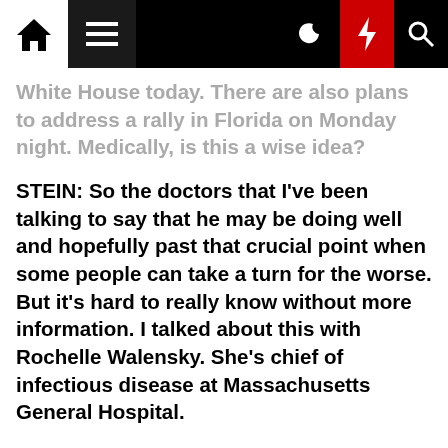Navigation bar with home, menu, moon, lightning, and search icons
White House today. There are also plans to address a rally in Florida on Monday night. Medically, is this a wise idea?
STEIN: So the doctors that I've been talking to say that he may be doing well and hopefully past that crucial point when some people can take a turn for the worse. But it's hard to really know without more information. I talked about this with Rochelle Walensky. She's chief of infectious disease at Massachusetts General Hospital.
ROCHELLE WALENSKY: The thing to really note is this is a 74-year-old gentleman who just had a hospitalizing disease, perhaps a hospitalizing viral pneumonia, and sort of being out and about on the campaign trail may, in fact, not